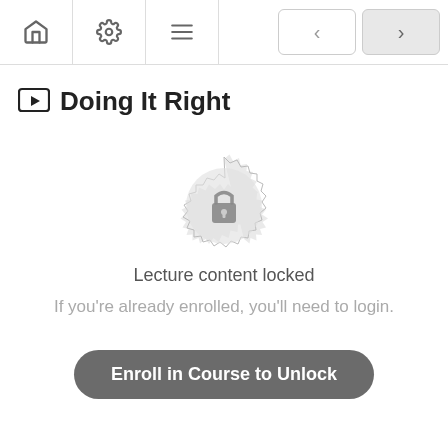Navigation bar with home, settings, menu icons and prev/next buttons
Doing It Right
[Figure (illustration): A grey decorative rosette/badge with a padlock icon in the center, indicating locked content]
Lecture content locked
If you're already enrolled, you'll need to login.
Enroll in Course to Unlock